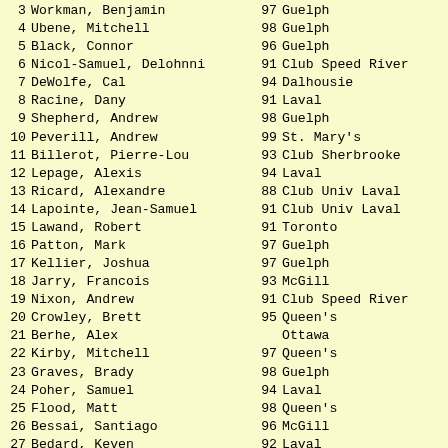| # | Name | Year | Club | Score |
| --- | --- | --- | --- | --- |
| 3 | Workman, Benjamin | 97 | Guelph | 8 |
| 4 | Ubene, Mitchell | 98 | Guelph | 8 |
| 5 | Black, Connor | 96 | Guelph | 8 |
| 6 | Nicol-Samuel, Delohnni | 91 | Club Speed River | 8 |
| 7 | DeWolfe, Cal | 94 | Dalhousie | 8 |
| 8 | Racine, Dany | 91 | Laval | 8 |
| 9 | Shepherd, Andrew | 98 | Guelph | 8 |
| 10 | Peverill, Andrew | 99 | St. Mary's | 8 |
| 11 | Billerot, Pierre-Lou | 93 | Club Sherbrooke | 8 |
| 12 | Lepage, Alexis | 94 | Laval | 8 |
| 13 | Ricard, Alexandre | 88 | Club Univ Laval | 8 |
| 14 | Lapointe, Jean-Samuel | 91 | Club Univ Laval | 8 |
| 15 | Lawand, Robert | 91 | Toronto | 8 |
| 16 | Patton, Mark | 97 | Guelph | 8 |
| 17 | Kellier, Joshua | 97 | Guelph | 8 |
| 18 | Jarry, Francois | 93 | McGill | 8 |
| 19 | Nixon, Andrew | 91 | Club Speed River | 8 |
| 20 | Crowley, Brett | 95 | Queen's | 8 |
| 21 | Berhe, Alex |  | Ottawa | 8 |
| 22 | Kirby, Mitchell | 97 | Queen's | 8 |
| 23 | Graves, Brady | 98 | Guelph | 8 |
| 24 | Poher, Samuel | 94 | Laval | 8 |
| 25 | Flood, Matt | 98 | Queen's | 8 |
| 26 | Bessai, Santiago | 96 | McGill | 8 |
| 27 | Bedard, Keven | 92 | Laval | 8 |
| 28 | Rouleau, Patrick | 92 | Laval | 8 |
| 29 | Cromack, James | 99 | Dalhousie | 8 |
| 30 | Kinahan, Sam | 91 | Toronto | 8 |
| 31 | Senneville, Marc Antoine | 95 | Uqtr | 8 |
| 32 | Delange, Mitchell | 99 | Queen's | 8 |